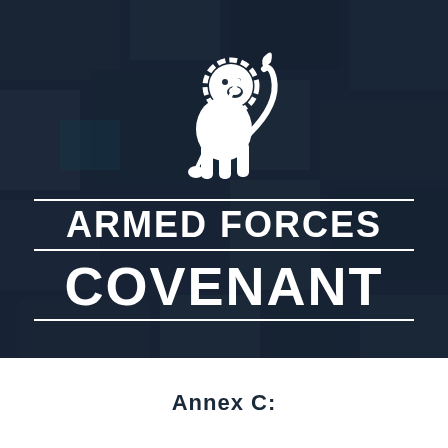[Figure (logo): Armed Forces Covenant logo — white heraldic lion holding a sword, above two horizontal white lines flanking 'ARMED FORCES' in bold white capitals, another horizontal rule, then 'COVENANT' in large bold white capitals, on a dark aerial-photo background]
Annex C: